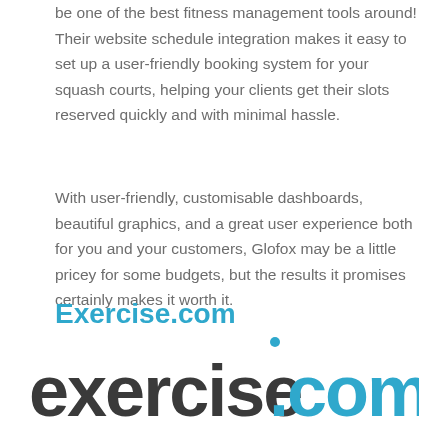be one of the best fitness management tools around! Their website schedule integration makes it easy to set up a user-friendly booking system for your squash courts, helping your clients get their slots reserved quickly and with minimal hassle.
With user-friendly, customisable dashboards, beautiful graphics, and a great user experience both for you and your customers, Glofox may be a little pricey for some budgets, but the results it promises certainly makes it worth it.
Exercise.com
[Figure (logo): exercise.com logo with 'exercise' in dark gray and '.com' in cyan/teal color]